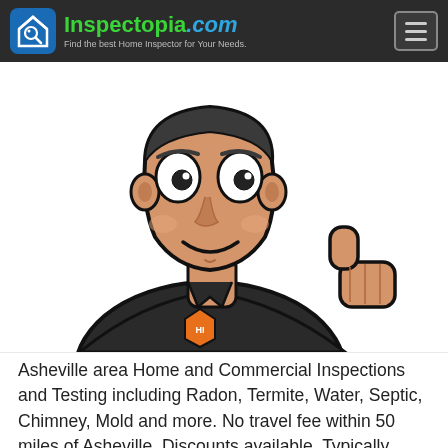Inspectopia.com — Find the best Home Inspector for Your Needs.
[Figure (illustration): Cartoon illustration of a smiling male home inspector character in a dark uniform giving a thumbs up, with an inspector badge on his chest]
Asheville area Home and Commercial Inspections and Testing including Radon, Termite, Water, Septic, Chimney, Mold and more. No travel fee within 50 miles of Asheville. Discounts available. Typically scheduling within 3 business days. Same day or